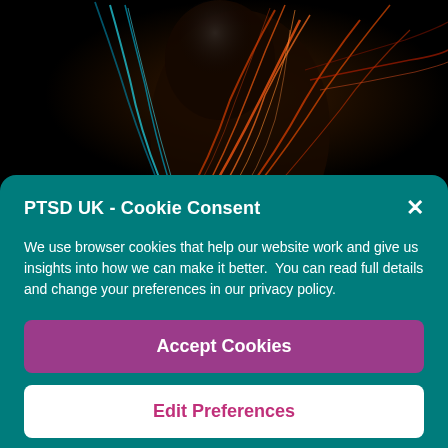[Figure (photo): Dark background with colorful glowing neural/anatomical figure — orange, red, and blue glowing strands against a black background, resembling a human form with illuminated nerve or energy lines.]
PTSD UK - Cookie Consent
We use browser cookies that help our website work and give us insights into how we can make it better.  You can read full details and change your preferences in our privacy policy.
Accept Cookies
Edit Preferences
Cookie Policy   Privacy